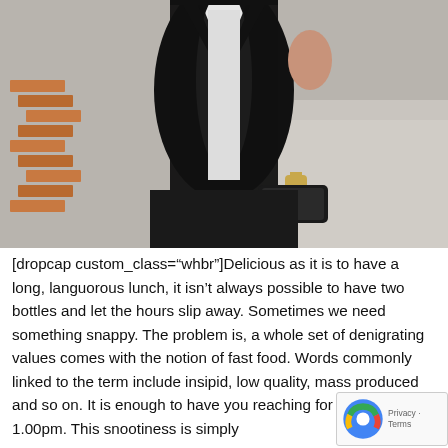[Figure (photo): A person wearing a black blazer over a white shirt, sitting on steps, holding a smartphone. Wooden book-shaped decorative objects are visible on the left side. The background shows light-colored stone flooring.]
[dropcap custom_class="whbr"]Delicious as it is to have a long, languorous lunch, it isn't always possible to have two bottles and let the hours slip away. Sometimes we need something snappy. The problem is, a whole set of denigrating values comes with the notion of fast food. Words commonly linked to the term include insipid, low quality, mass produced and so on. It is enough to have you reaching for a bottle at 1.00pm. This snootiness is simply